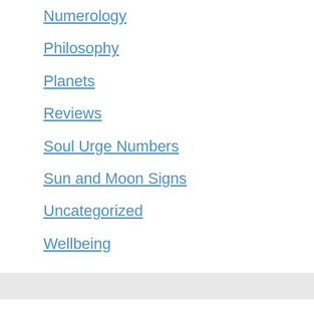Numerology
Philosophy
Planets
Reviews
Soul Urge Numbers
Sun and Moon Signs
Uncategorized
Wellbeing
aries sun astrology book brain business celebrities commemorative compatability course diabetes diet digestion dizziness exercise hair hair loss hearing inflammation jobs keto